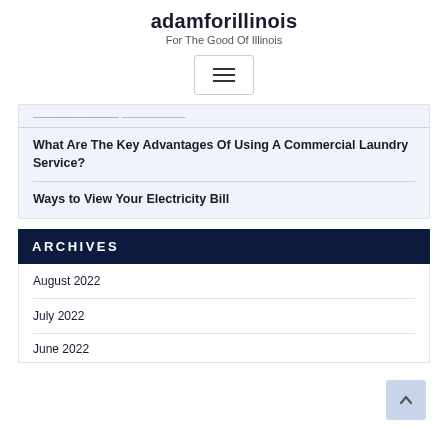adamforillinois
For The Good Of Illinois
[Figure (other): Hamburger menu button icon with three horizontal lines]
[truncated link text — partially visible]
What Are The Key Advantages Of Using A Commercial Laundry Service?
Ways to View Your Electricity Bill
ARCHIVES
August 2022
July 2022
June 2022